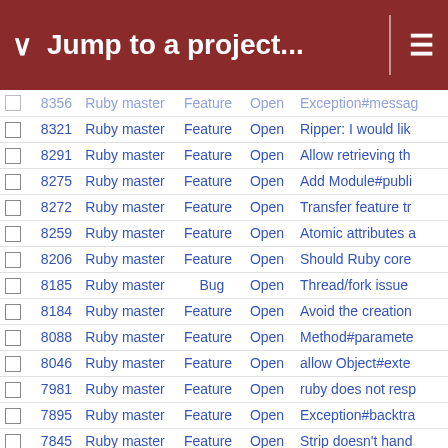Jump to a project...
|  | # | Project | Tracker | Status | Subject |
| --- | --- | --- | --- | --- | --- |
|  | 8356 | Ruby master | Feature | Open | Exception#messag |
|  | 8321 | Ruby master | Feature | Open | Ripper: I would lik |
|  | 8291 | Ruby master | Feature | Open | Allow retrieving th |
|  | 8275 | Ruby master | Feature | Open | Add Module#publi |
|  | 8272 | Ruby master | Feature | Open | Transfer feature tr |
|  | 8259 | Ruby master | Feature | Open | Atomic attributes a |
|  | 8206 | Ruby master | Feature | Open | Should Ruby core |
|  | 8185 | Ruby master | Bug | Open | Thread/fork issue |
|  | 8184 | Ruby master | Feature | Open | Avoid the creation |
|  | 8088 | Ruby master | Feature | Open | Method#paramete |
|  | 8046 | Ruby master | Feature | Open | allow Object#exte |
|  | 7981 | Ruby master | Feature | Open | ruby does not resp |
|  | 7895 | Ruby master | Feature | Open | Exception#backtra |
|  | 7845 | Ruby master | Feature | Open | Strip doesn't hand |
|  | 7747 | Ruby master | Feature | Open | Expanded API for |
|  | 7708 | Ruby master | Feature | Open | support for patche |
|  | 7545 | Ruby master | Feature | Open | Make Range act a |
|  | 7384 | Ruby master | Feature | Open | Rename #each_w |
|  | 7341 | Ruby master | Feature | Open | Enumerable#asso |
|  | 7340 | Ruby master | Feature | Open | 'each_with' or 'int |